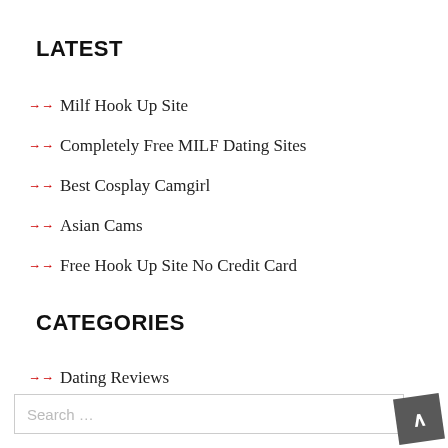LATEST
Milf Hook Up Site
Completely Free MILF Dating Sites
Best Cosplay Camgirl
Asian Cams
Free Hook Up Site No Credit Card
CATEGORIES
Dating Reviews
Search ...